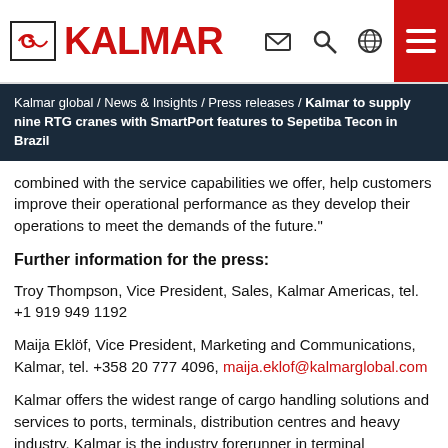Kalmar logo and navigation header
Kalmar global / News & Insights / Press releases / Kalmar to supply nine RTG cranes with SmartPort features to Sepetiba Tecon in Brazil
combined with the service capabilities we offer, help customers improve their operational performance as they develop their operations to meet the demands of the future."
Further information for the press:
Troy Thompson, Vice President, Sales, Kalmar Americas, tel. +1 919 949 1192
Maija Eklöf, Vice President, Marketing and Communications, Kalmar, tel. +358 20 777 4096, maija.eklof@kalmarglobal.com
Kalmar offers the widest range of cargo handling solutions and services to ports, terminals, distribution centres and heavy industry. Kalmar is the industry forerunner in terminal automation and in energy efficient container handling, with one in four container movements around the globe being handled by a Kalmar solution. Through its extensive product portfolio, global service network and ability to enable a seamless integration of different terminal